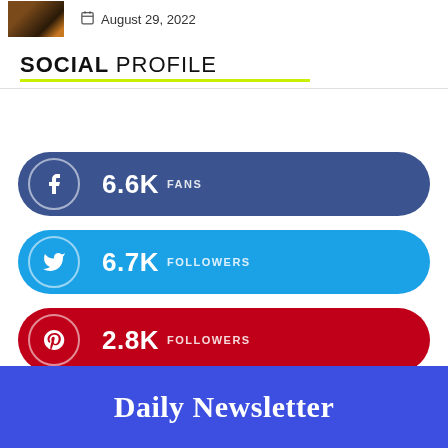[Figure (photo): Small thumbnail photo of a dimly lit lantern or candle scene]
August 29, 2022
SOCIAL PROFILE
[Figure (infographic): Facebook button showing 6.6K FANS]
[Figure (infographic): Twitter button showing 6.7K FOLLOWERS]
[Figure (infographic): Pinterest button showing 2.8K FOLLOWERS]
Daily Newsletter